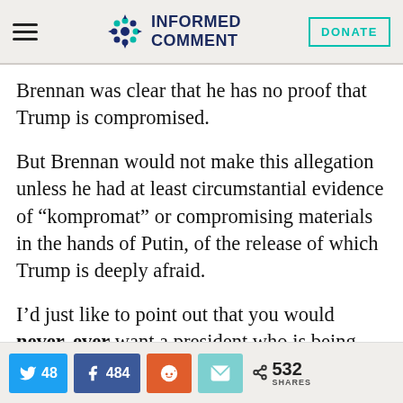INFORMED COMMENT
Brennan was clear that he has no proof that Trump is compromised.
But Brennan would not make this allegation unless he had at least circumstantial evidence of “kompromat” or compromising materials in the hands of Putin, of the release of which Trump is deeply afraid.
I’d just like to point out that you would never, ever want a president who is being
48 • 484 • 532 SHARES